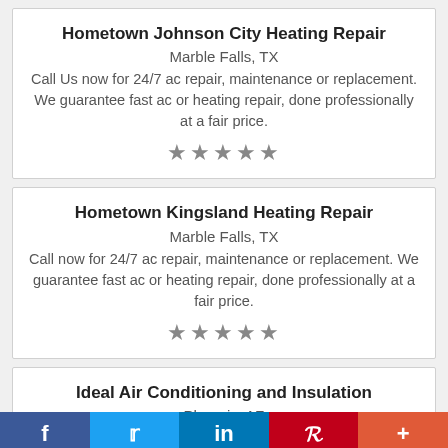Hometown Johnson City Heating Repair
Marble Falls, TX
Call Us now for 24/7 ac repair, maintenance or replacement. We guarantee fast ac or heating repair, done professionally at a fair price.
[Figure (other): 5 star rating (grey stars)]
Hometown Kingsland Heating Repair
Marble Falls, TX
Call now for 24/7 ac repair, maintenance or replacement. We guarantee fast ac or heating repair, done professionally at a fair price.
[Figure (other): 5 star rating (grey stars)]
Ideal Air Conditioning and Insulation
Phoenix, AZ
f  Twitter  in  P  +